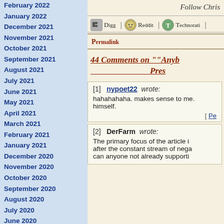February 2022
January 2022
December 2021
November 2021
October 2021
September 2021
August 2021
July 2021
June 2021
May 2021
April 2021
March 2021
February 2021
January 2021
December 2020
November 2020
October 2020
September 2020
August 2020
July 2020
June 2020
May 2020
April 2020
March 2020
February 2020
January 2020
Follow Chris
Digg | Reddit | Technorati |
Permalink
44 Comments on ""Anyb... Pres...
[1] nypoet22 wrote:
hahahahaha. makes sense to me. himself.
[ Pe...
[2] DerFarm wrote:
The primary focus of the article i... after the constant stream of nega... can anyone not already supporti...